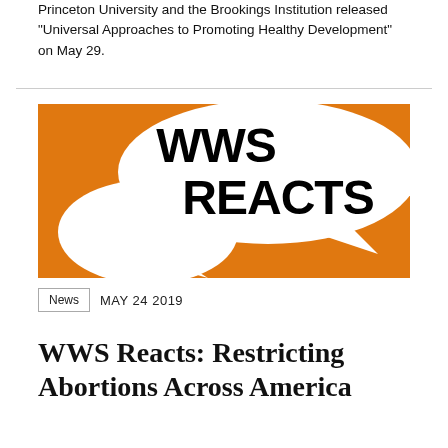Princeton University and the Brookings Institution released “Universal Approaches to Promoting Healthy Development” on May 29.
[Figure (illustration): WWS Reacts logo image: orange background with white speech bubbles and bold black text reading 'WWS REACTS']
News   MAY 24 2019
WWS Reacts: Restricting Abortions Across America